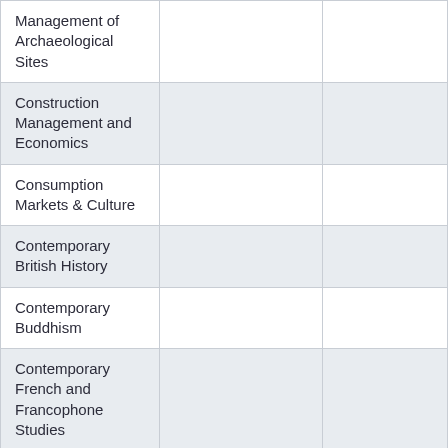| Management of Archaeological Sites |  |  |
| Construction Management and Economics |  |  |
| Consumption Markets & Culture |  |  |
| Contemporary British History |  |  |
| Contemporary Buddhism |  |  |
| Contemporary French and Francophone Studies |  |  |
| Contemporary Italian Politics |  |  |